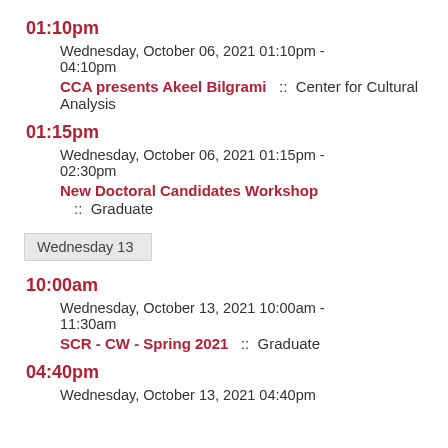01:10pm
Wednesday, October 06, 2021 01:10pm - 04:10pm
CCA presents Akeel Bilgrami  ::  Center for Cultural Analysis
01:15pm
Wednesday, October 06, 2021 01:15pm - 02:30pm
New Doctoral Candidates Workshop  ::  Graduate
Wednesday 13
10:00am
Wednesday, October 13, 2021 10:00am - 11:30am
SCR - CW - Spring 2021  ::  Graduate
04:40pm
Wednesday, October 13, 2021 04:40pm